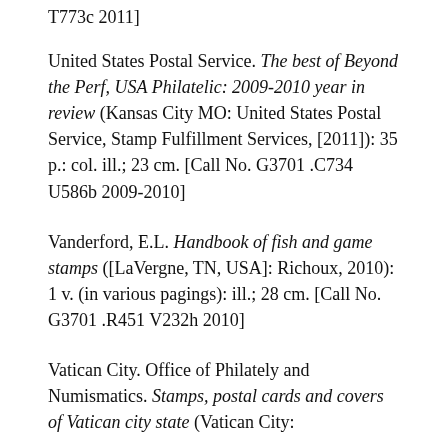T773c 2011]
United States Postal Service. The best of Beyond the Perf, USA Philatelic: 2009-2010 year in review (Kansas City MO: United States Postal Service, Stamp Fulfillment Services, [2011]): 35 p.: col. ill.; 23 cm. [Call No. G3701 .C734 U586b 2009-2010]
Vanderford, E.L. Handbook of fish and game stamps ([LaVergne, TN, USA]: Richoux, 2010): 1 v. (in various pagings): ill.; 28 cm. [Call No. G3701 .R451 V232h 2010]
Vatican City. Office of Philately and Numismatics. Stamps, postal cards and covers of Vatican city state (Vatican City: